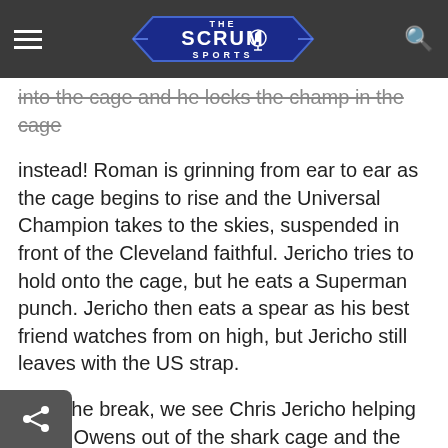The Scrum Sports
into the cage and he locks the champ in the cage instead! Roman is grinning from ear to ear as the cage begins to rise and the Universal Champion takes to the skies, suspended in front of the Cleveland faithful. Jericho tries to hold onto the cage, but he eats a Superman punch. Jericho then eats a spear as his best friend watches from on high, but Jericho still leaves with the US strap.
After the break, we see Chris Jericho helping Kevin Owens out of the shark cage and the two best friends argue and Chris Jericho is frantic about how high the cage is. We find out that now the title match on Sunday is a No DQ match! Jericho will be suspended in the shark cage and it seems that the k is stacked against Owens. KO says the match